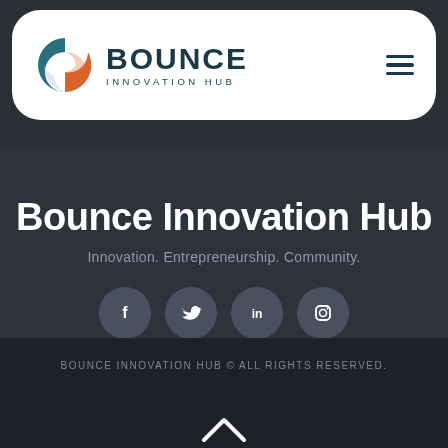[Figure (logo): Bounce Innovation Hub logo with circular icon in teal/orange and text BOUNCE INNOVATION HUB]
Bounce Innovation Hub
Innovation. Entrepreneurship. Community.
[Figure (infographic): Four social media icons in dark gray circles: Facebook, Twitter, LinkedIn, Instagram]
BOUNCE INNOVATION HUB © ALL RIGHTS RESERVED.